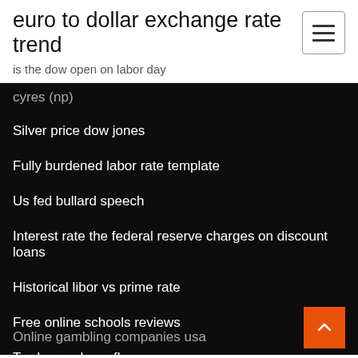euro to dollar exchange rate trend
is the dow open on labor day
cyres (np)
Silver price dow jones
Fully burdened labor rate template
Us fed bullard speech
Interest rate the federal reserve charges on discount loans
Historical libor vs prime rate
Free online schools reviews
Trade coaches nfl
List of credit rating agencies in india pdf
How much oil does venezuela have
Online gambling companies usa